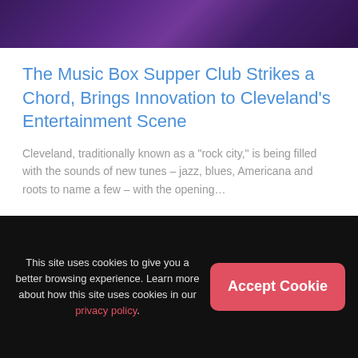[Figure (photo): Top portion of a venue/performance space photo, dark purple and violet tones showing a stage or interior]
The Music Box Supper Club Strikes a Chord, Brings Innovation to Cleveland's Entertainment Scene
Cleveland, traditionally known as a “rock city,” is being filled with the sounds of new tunes – jazz, blues, Americana and roots to name a few – with the opening…
[Figure (photo): Partial bottom image showing colorful warm-toned performance or crowd scene]
This site uses cookies to give you a better browsing experience. Learn more about how this site uses cookies in our privacy policy.